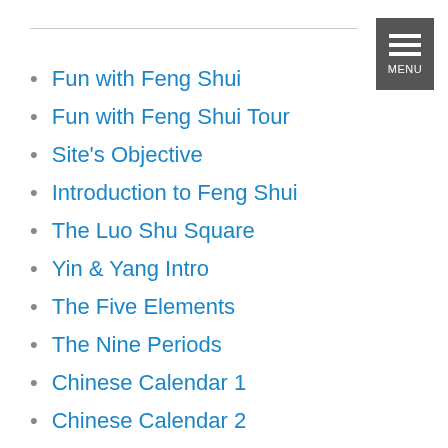Fun with Feng Shui
Fun with Feng Shui Tour
Site's Objective
Introduction to Feng Shui
The Luo Shu Square
Yin & Yang Intro
The Five Elements
The Nine Periods
Chinese Calendar 1
Chinese Calendar 2
Chinese Calendar 3
The Eight Trigrams
Dragon's Breath
The Landscape
Shapes & Form
Chinese Burial Sites